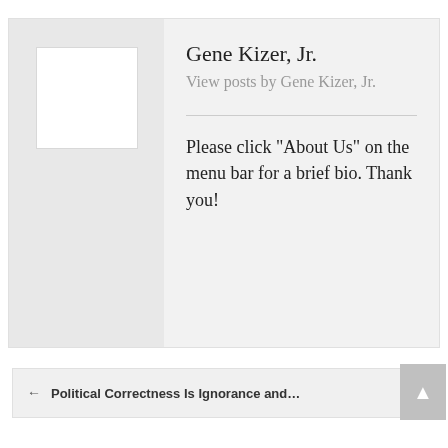[Figure (other): Author avatar placeholder box (white square on grey background)]
Gene Kizer, Jr.
View posts by Gene Kizer, Jr.
Please click "About Us" on the menu bar for a brief bio. Thank you!
← Political Correctness Is Ignorance and…